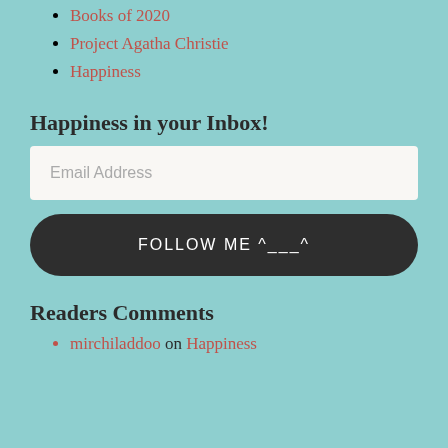Books of 2020
Project Agatha Christie
Happiness
Happiness in your Inbox!
Email Address
FOLLOW ME ^___^
Readers Comments
mirchiladdoo on Happiness